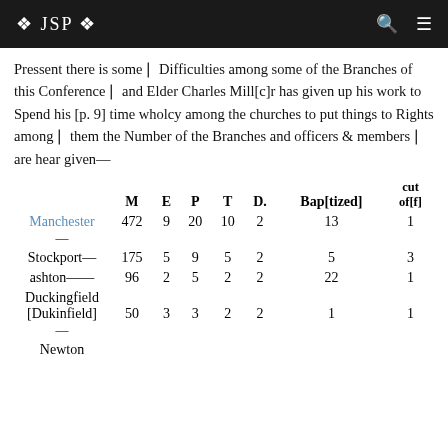❖ JSP ❖
Pressent there is some Difficulties among some of the Branches of this Conference and Elder Charles Mill[c]r has given up his work to Spend his [p. 9] time wholcy among the churches to put things to Rights among them the Number of the Branches and officers & members are hear given—
|  | M | E | P | T | D. | Bap[tized] | cut of[f] |
| --- | --- | --- | --- | --- | --- | --- | --- |
| Manchester — | 472 | 9 | 20 | 10 | 2 | 13 | 1 |
| Stockport— | 175 | 5 | 9 | 5 | 2 | 5 | 3 |
| ashton—— | 96 | 2 | 5 | 2 | 2 | 22 | 1 |
| Duckingfield [Dukinfield] — | 50 | 3 | 3 | 2 | 2 | 1 | 1 |
| Newton |  |  |  |  |  |  |  |